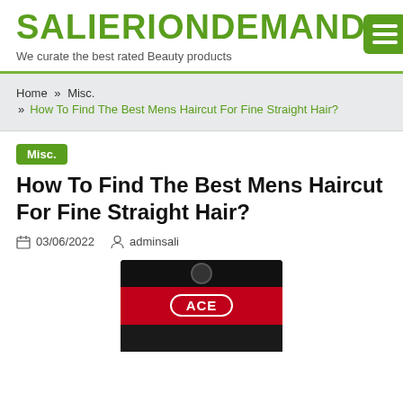SALIERIONDDEMAND
We curate the best rated Beauty products
Home » Misc. » How To Find The Best Mens Haircut For Fine Straight Hair?
Misc.
How To Find The Best Mens Haircut For Fine Straight Hair?
03/06/2022  adminsali
[Figure (photo): ACE product packaging with red band and white ACE logo on dark background]